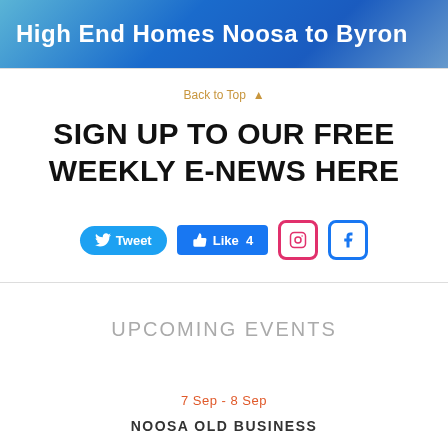[Figure (illustration): Banner image with blue gradient background and white bold text reading 'High End Homes Noosa to Byron']
Back to Top ▲
SIGN UP TO OUR FREE WEEKLY E-NEWS HERE
[Figure (infographic): Social media buttons row: Tweet button (Twitter blue), Like 4 button (Facebook blue), Instagram icon, Facebook icon]
UPCOMING EVENTS
7 Sep - 8 Sep
NOOSA OLD BUSINESS